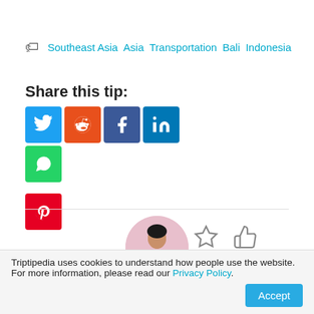🏷 Southeast Asia  Asia  Transportation  Bali  Indonesia
Share this tip:
[Figure (infographic): Social share buttons: Twitter (blue), Reddit (orange), Facebook (dark blue), LinkedIn (blue), WhatsApp (green), Pinterest (red). Star and thumbs-up icons on right.]
[Figure (photo): Circular profile photo of a woman on a pink background for user @voyageandsoul]
@voyageandsoul
Triptipedia uses cookies to understand how people use the website. For more information, please read our Privacy Policy.